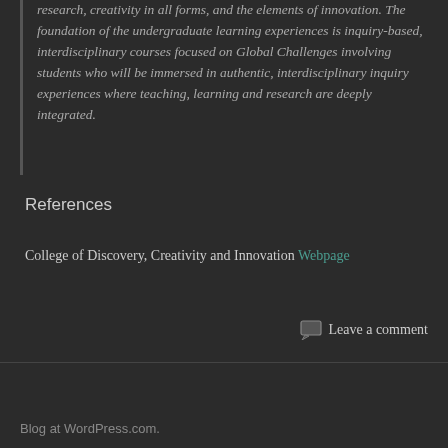research, creativity in all forms, and the elements of innovation. The foundation of the undergraduate learning experiences is inquiry-based, interdisciplinary courses focused on Global Challenges involving students who will be immersed in authentic, interdisciplinary inquiry experiences where teaching, learning and research are deeply integrated.
References
College of Discovery, Creativity and Innovation Webpage
Leave a comment
Blog at WordPress.com.